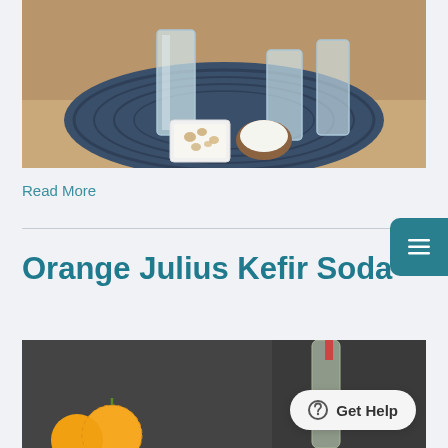[Figure (photo): Photo of kefir grain ingredients: glass jars, a white square dish with kefir grains, a small wooden bowl with sugar, on a round dark blue woven placemat on a wooden surface.]
Read More
Orange Julius Kefir Soda
[Figure (photo): Photo showing oranges and a glass bottle on a dark background, partially visible.]